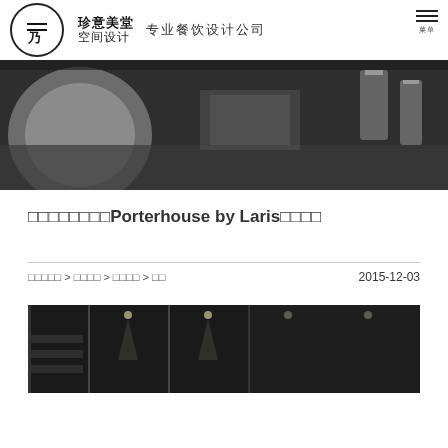珍意美堂空间设计 专业餐饮设计公司
[Figure (photo): Black and white photo of restaurant table setting with plates and glasses]
上海静安嘉里中心Porterhouse by Laris西餐厅
珍意美堂 > 设计案例 > 餐饮设计 > 分享 · 2015-12-03
[Figure (photo): Dark interior photo of restaurant showing bar/wine area]